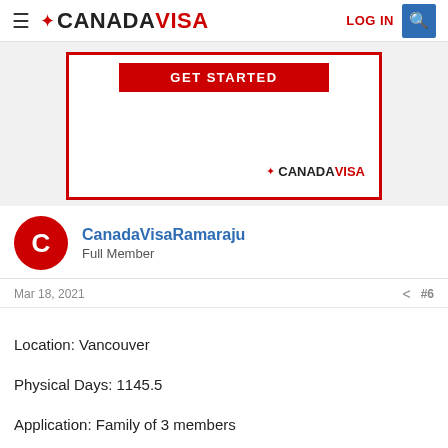≡ ✦ CANADAVISA    LOG IN 🔍
[Figure (screenshot): CanadaVisa advertisement banner with red border, GET STARTED button in red, and CanadaVisa logo at bottom right]
CanadaVisaRamaraju
Full Member
Mar 18, 2021   < #6
Location: Vancouver
Physical Days: 1145.5
Application: Family of 3 members
Application sent: February 27, 2021
Delivered: March 4, 2021
AOR: waiting